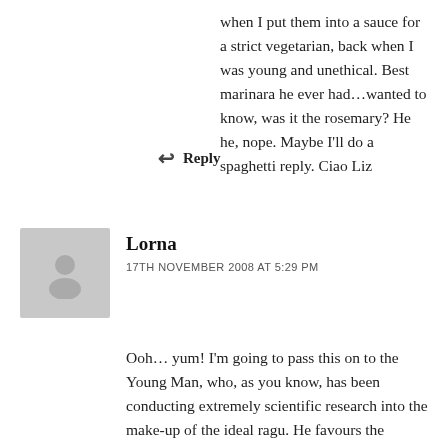when I put them into a sauce for a strict vegetarian, back when I was young and unethical. Best marinara he ever had...wanted to know, was it the rosemary? He he, nope. Maybe I'll do a spaghetti reply. Ciao Liz
↩ Reply
Lorna
17TH NOVEMBER 2008 AT 5:29 PM
Ooh… yum! I'm going to pass this on to the Young Man, who, as you know, has been conducting extremely scientific research into the make-up of the ideal ragu. He favours the worcester sauce and tabasco addition, but maybe I can bring him round to anchovies.